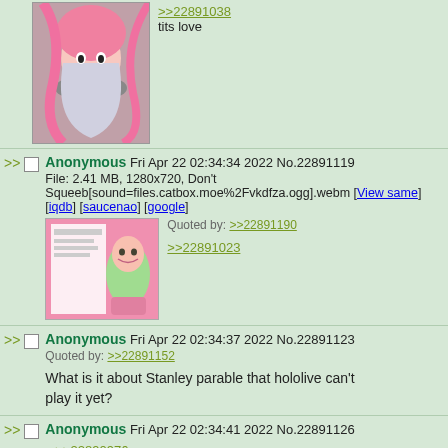[Figure (illustration): Anime girl with pink hair]
>>22891038
tits love
Anonymous Fri Apr 22 02:34:34 2022 No.22891119
File: 2.41 MB, 1280x720, Don't Squeeb[sound=files.catbox.moe%2Fvkdfza.ogg].webm [View same] [iqdb] [saucenao] [google]
[Figure (screenshot): Anime character on pink background screenshot]
Quoted by: >>22891190
>>22891023
Anonymous Fri Apr 22 02:34:37 2022 No.22891123
Quoted by: >>22891152
What is it about Stanley parable that hololive can't play it yet?
Anonymous Fri Apr 22 02:34:41 2022 No.22891126
>>22890976
/vt/chings can only maintain an obsession with